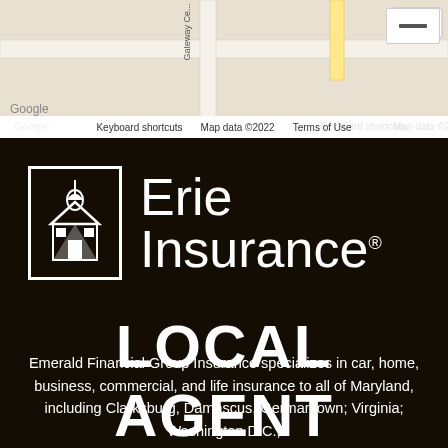[Figure (screenshot): Google Maps screenshot showing a road map with route 355 visible, Gateway road label, and map controls. Footer shows 'Keyboard shortcuts', 'Map data ©2022', 'Terms of Use'. Google logo appears bottom-left. A zoom-out button appears top-right.]
[Figure (logo): Erie Insurance logo: white building/house icon in a white-bordered rectangle, with 'Erie Insurance®' text to the right in large white font on dark background.]
LOCAL  AGENT
Emerald Financial Group Insurance specializes in car, home, business, commercial, and life insurance to all of Maryland, including Clarksburg, Damascus, Germantown; Virginia; Washington D.C.;